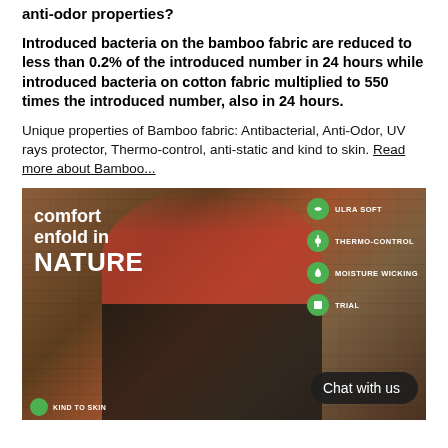anti-odor properties?
Introduced bacteria on the bamboo fabric are reduced to less than 0.2% of the introduced number in 24 hours while introduced bacteria on cotton fabric multiplied to 550 times the introduced number, also in 24 hours.
Unique properties of Bamboo fabric: Antibacterial, Anti-Odor, UV rays protector, Thermo-control, anti-static and kind to skin. Read more about Bamboo...
[Figure (photo): Advertisement image showing a woman in athletic wear (red tank top, black pants) sitting against a brick wall. Text overlay reads 'comfort enfold in NATURE'. Right side shows feature badges: ULRA SOFT, THERMO-CONTROL, MOISTURE WICKING, TRIAL, KIND TO SKIN (all with green circular icons). A dark chat button reads 'Chat with us'.]